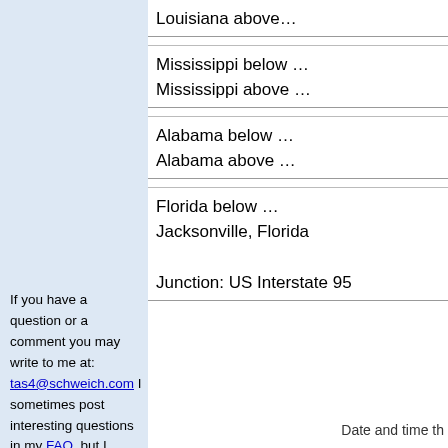Louisiana above…
Mississippi below …
Mississippi above …
Alabama below …
Alabama above …
Florida below …
Jacksonville, Florida

Junction: US Interstate 95
If you have a question or a comment you may write to me at: tas4@schweich.com I sometimes post interesting questions in my FAQ, but I never disclose your full name or address.
Date and time th